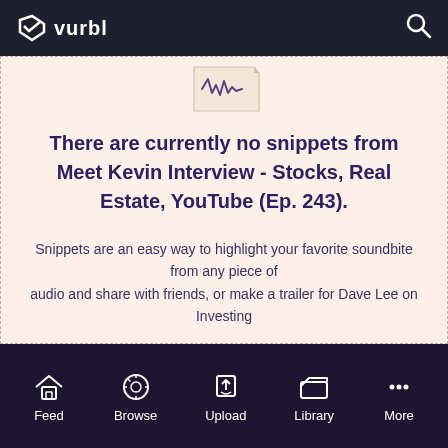vurbl
[Figure (illustration): Waveform/audio icon with a folded paper background at top of content area]
There are currently no snippets from Meet Kevin Interview - Stocks, Real Estate, YouTube (Ep. 243).
Snippets are an easy way to highlight your favorite soundbite from any piece of audio and share with friends, or make a trailer for Dave Lee on Investing
✂ Create a Snippet
Feed  Browse  Upload  Library  More